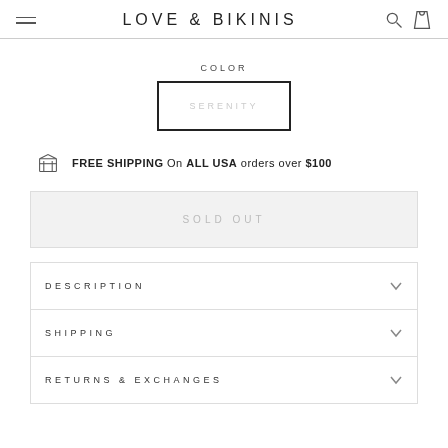LOVE & BIKINIS
COLOR
SERENITY
FREE SHIPPING On ALL USA orders over $100
SOLD OUT
DESCRIPTION
SHIPPING
RETURNS & EXCHANGES